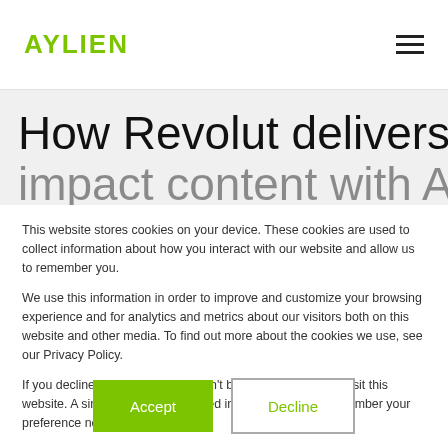AYLIEN
How Revolut delivers high impact content with AYLIEN
This website stores cookies on your device. These cookies are used to collect information about how you interact with our website and allow us to remember you.
We use this information in order to improve and customize your browsing experience and for analytics and metrics about our visitors both on this website and other media. To find out more about the cookies we use, see our Privacy Policy.
If you decline, your information won't be tracked when you visit this website. A single cookie will be used in your browser to remember your preference not to be tracked.